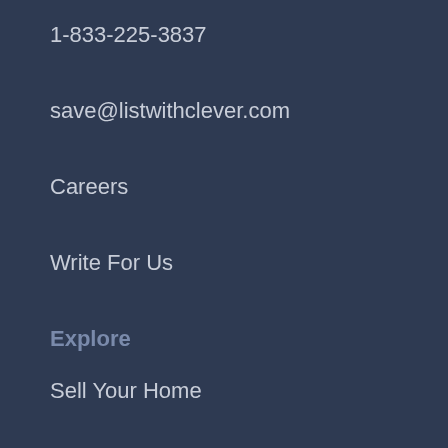1-833-225-3837
save@listwithclever.com
Careers
Write For Us
Explore
Sell Your Home
Buy A Home
Agents